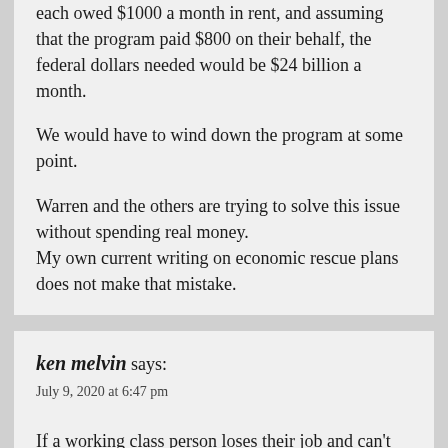each owed $1000 a month in rent, and assuming that the program paid $800 on their behalf, the federal dollars needed would be $24 billion a month.
We would have to wind down the program at some point.
Warren and the others are trying to solve this issue without spending real money.
My own current writing on economic rescue plans does not make that mistake.
ken melvin says:
July 9, 2020 at 6:47 pm
If a working class person loses their job and can't find another, in short order, they lose any provided